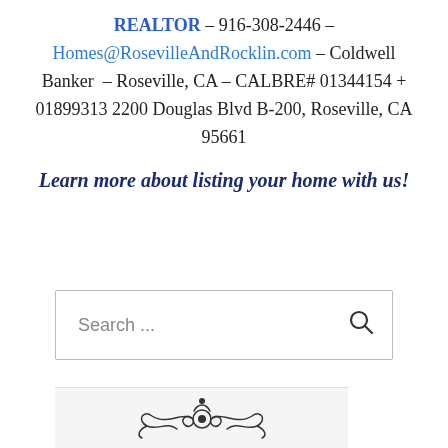REALTOR – 916-308-2446 – Homes@RosevilleAndRocklin.com – Coldwell Banker – Roseville, CA – CALBRE# 01344154 + 01899313 2200 Douglas Blvd B-200, Roseville, CA 95661
Learn more about listing your home with us!
Search ...
[Figure (illustration): Bottom portion of a decorative ornamental graphic with scrollwork/flourishes in black and white, partially visible at bottom of page.]